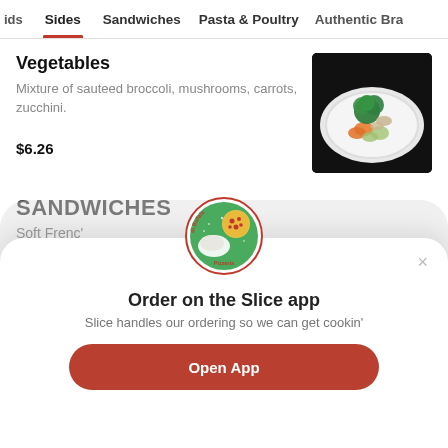ids   Sides   Sandwiches   Pasta & Poultry   Authentic Bra
Vegetables
Mixture of sauteed broccoli, mushrooms, carrots, zucchini.
$6.26
[Figure (photo): Photo of sauteed vegetables (broccoli, carrots, zucchini) on a white plate against a dark background]
SANDWICHES
Soft Frenc'
[Figure (logo): Mozzarella di Bufala Pizzeria circular logo — green circle with pizza and hand illustration, red text border]
Order on the Slice app
Slice handles our ordering so we can get cookin'
Open App